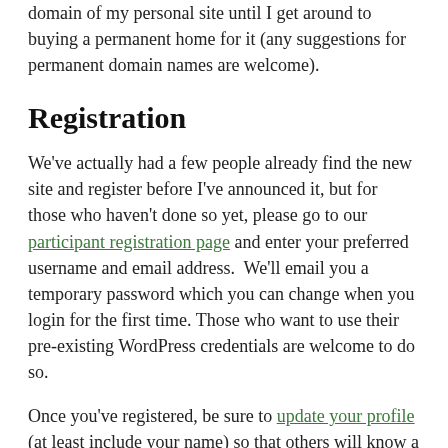domain of my personal site until I get around to buying a permanent home for it (any suggestions for permanent domain names are welcome).
Registration
We've actually had a few people already find the new site and register before I've announced it, but for those who haven't done so yet, please go to our participant registration page and enter your preferred username and email address.  We'll email you a temporary password which you can change when you login for the first time. Those who want to use their pre-existing WordPress credentials are welcome to do so.
Once you've registered, be sure to update your profile (at least include your name) so that others will know a little bit more about you. If you'd like you can also link your WordPress.com account [or sign up for one and then link it] so that you can add a photo and additional details.  To login later, there's a link